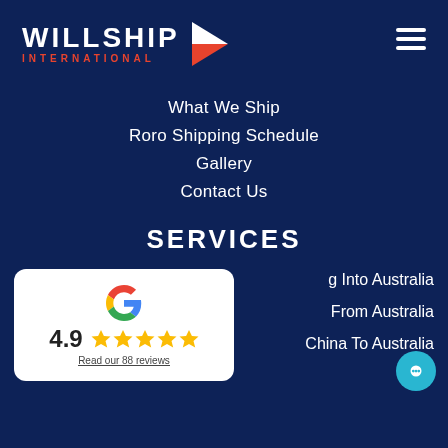[Figure (logo): Willship International logo with white text WILLSHIP in bold, red text INTERNATIONAL below, and a geometric arrow/chevron shape in white and red on the right]
What We Ship
Roro Shipping Schedule
Gallery
Contact Us
SERVICES
[Figure (infographic): Google review card showing 4.9 rating with 5 gold stars and text 'Read our 88 reviews']
g Into Australia
From Australia
China To Australia